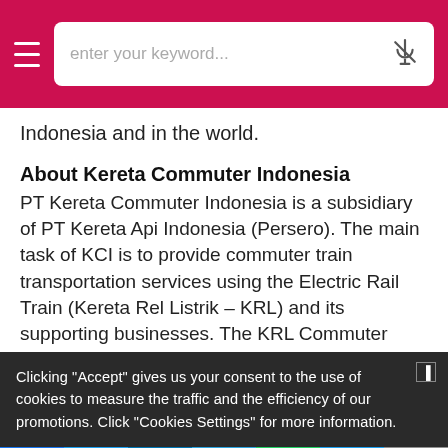enter your keyword...
Indonesia and in the world.
About Kereta Commuter Indonesia
PT Kereta Commuter Indonesia is a subsidiary of PT Kereta Api Indonesia (Persero). The main task of KCI is to provide commuter train transportation services using the Electric Rail Train (Kereta Rel Listrik – KRL) and its supporting businesses. The KRL Commuter
Clicking "Accept" gives us your consent to the use of cookies to measure the traffic and the efficiency of our promotions. Click "Cookies Settings" for more information.
Facebook Twitter LinkedIn Telegram WhatsApp Link Email